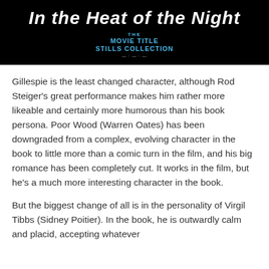[Figure (photo): Movie title card for 'In the Heat of the Night' on dark/black background with bold white italic text. Below the title is a blue logo reading 'THE MOVIE TITLE STILLS COLLECTION'.]
Gillespie is the least changed character, although Rod Steiger's great performance makes him rather more likeable and certainly more humorous than his book persona. Poor Wood (Warren Oates) has been downgraded from a complex, evolving character in the book to little more than a comic turn in the film, and his big romance has been completely cut. It works in the film, but he's a much more interesting character in the book.
But the biggest change of all is in the personality of Virgil Tibbs (Sidney Poitier). In the book, he is outwardly calm and placid, accepting whatever slights and humiliations come his way against the